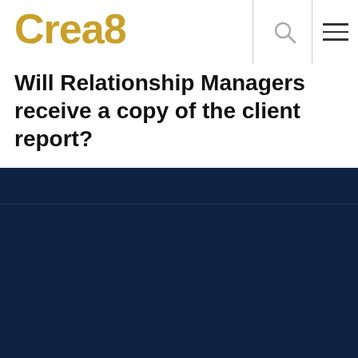Crea8
Will Relationship Managers receive a copy of the client report?
This website use cookies, which are necessary for its functioning and required to achieve the purposes illustrated in the cookie policy. To learn more, please refer to the cookie policy. By clicking “Accept”, you consent to the use of ALL the cookies.
ACCEPT